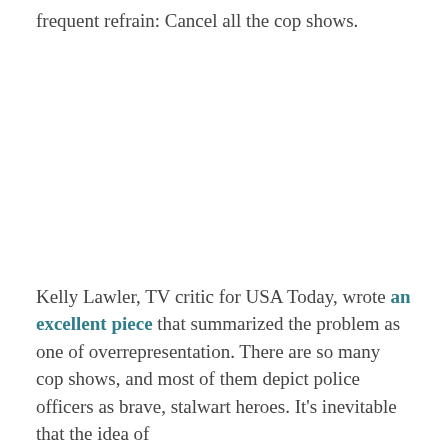frequent refrain: Cancel all the cop shows.
Kelly Lawler, TV critic for USA Today, wrote an excellent piece that summarized the problem as one of overrepresentation. There are so many cop shows, and most of them depict police officers as brave, stalwart heroes. It's inevitable that the idea of